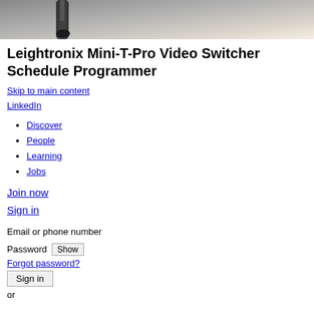[Figure (photo): Close-up photo of a cable/connector against a light beige background, showing top portion of the page]
Leightronix Mini-T-Pro Video Switcher Schedule Programmer
Skip to main content
LinkedIn
Discover
People
Learning
Jobs
Join now
Sign in
Email or phone number
Password  Show
Forgot password?
Sign in
or